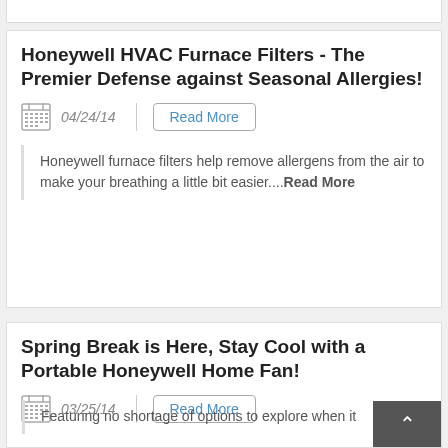Honeywell HVAC Furnace Filters - The Premier Defense against Seasonal Allergies!
04/24/14
Read More
Honeywell furnace filters help remove allergens from the air to make your breathing a little bit easier....Read More
Spring Break is Here, Stay Cool with a Portable Honeywell Home Fan!
03/25/14
Read More
Featuring no shortage of options to explore when it